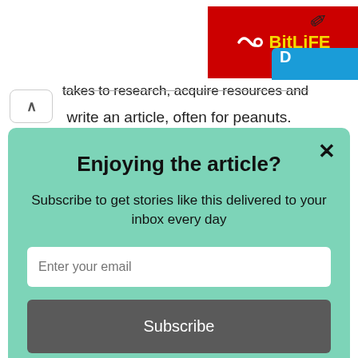[Figure (screenshot): BitLife red banner advertisement with yellow logo text and blue tab with 'D' visible on right side]
takes to research, acquire resources and write an article, often for peanuts.
Enjoying the article?
Subscribe to get stories like this delivered to your inbox every day
Enter your email
Subscribe
powered by MailMunch